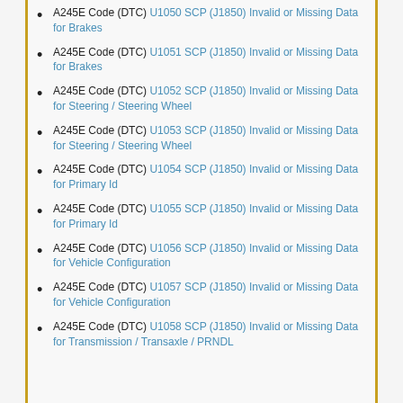A245E Code (DTC) U1050 SCP (J1850) Invalid or Missing Data for Brakes
A245E Code (DTC) U1051 SCP (J1850) Invalid or Missing Data for Brakes
A245E Code (DTC) U1052 SCP (J1850) Invalid or Missing Data for Steering / Steering Wheel
A245E Code (DTC) U1053 SCP (J1850) Invalid or Missing Data for Steering / Steering Wheel
A245E Code (DTC) U1054 SCP (J1850) Invalid or Missing Data for Primary Id
A245E Code (DTC) U1055 SCP (J1850) Invalid or Missing Data for Primary Id
A245E Code (DTC) U1056 SCP (J1850) Invalid or Missing Data for Vehicle Configuration
A245E Code (DTC) U1057 SCP (J1850) Invalid or Missing Data for Vehicle Configuration
A245E Code (DTC) U1058 SCP (J1850) Invalid or Missing Data for Transmission / Transaxle / PRNDL